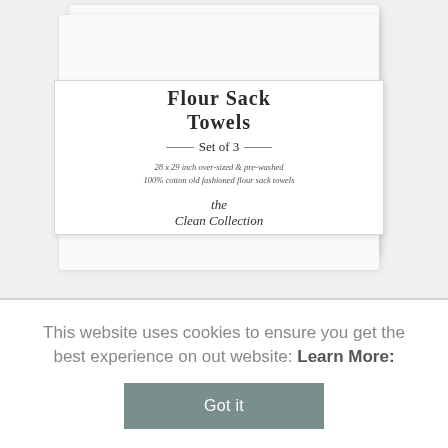[Figure (photo): A folded set of white flour sack towels with a product label band around them. The label reads 'Flour Sack Towels, Set of 3, 28 x 29 inch over-sized & pre-washed, 100% cotton old fashioned flour sack towels, the Clean Collection'.]
This website uses cookies to ensure you get the best experience on out website: Learn More:
Got it